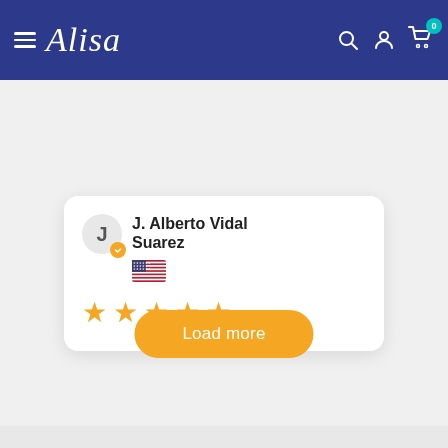Alisa — navigation bar with hamburger menu, logo, search, account, and cart (0 items)
J. Alberto Vidal Suarez
[Figure (illustration): US flag emoji indicating reviewer country]
[Figure (infographic): Five gold star rating]
Load more